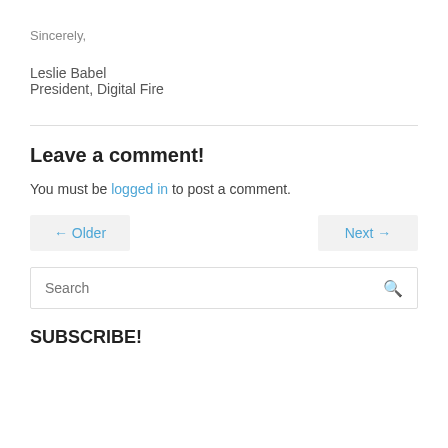Sincerely,
Leslie Babel
President, Digital Fire
Leave a comment!
You must be logged in to post a comment.
← Older    Next →
Search
SUBSCRIBE!